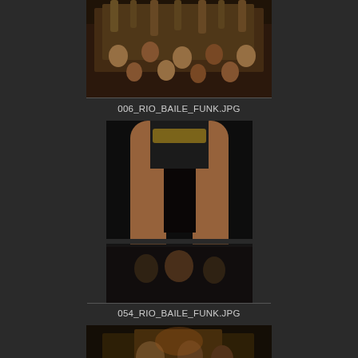[Figure (photo): Crowd of people at a Rio Baile Funk event, hands raised, dense crowd shot from above]
006_RIO_BAILE_FUNK.JPG
[Figure (photo): Close-up of a dancer's legs on stage at a Rio Baile Funk event, crowd visible below]
054_RIO_BAILE_FUNK.JPG
[Figure (photo): Partial view of another Rio Baile Funk photo, people visible at bottom of page]